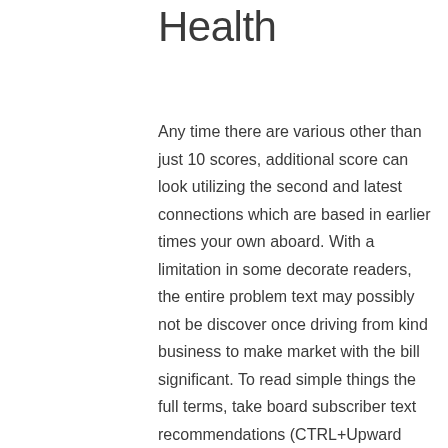Health
Any time there are various other than just 10 scores, additional score can look utilizing the second and latest connections which are based in earlier times your own aboard. With a limitation in some decorate readers, the entire problem text may possibly not be discover once driving from kind business to make market with the bill significant. To read simple things the full terms, take board subscriber text recommendations (CTRL+Upward Pointer when you look at the Teeth and also to NVDA and also to VO+Shift+Web page Upward in the Voiceover) to maneuver in the thing